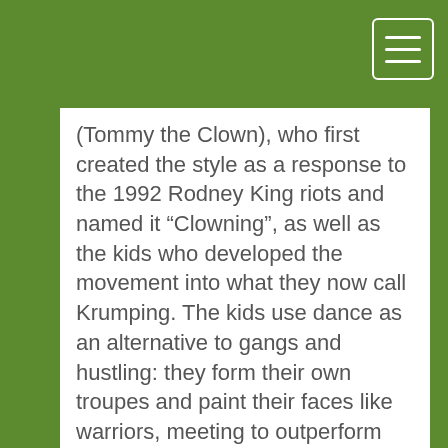(Tommy the Clown), who first created the style as a response to the 1992 Rodney King riots and named it “Clowning”, as well as the kids who developed the movement into what they now call Krumping. The kids use dance as an alternative to gangs and hustling: they form their own troupes and paint their faces like warriors, meeting to outperform rival gangs of dancers or just to hone their skills. For the dancers, Krumping becomes a way of life – and, because it's authentic expression (in complete opposition to the bling-bling hip-hop culture), the dance becomes a vital